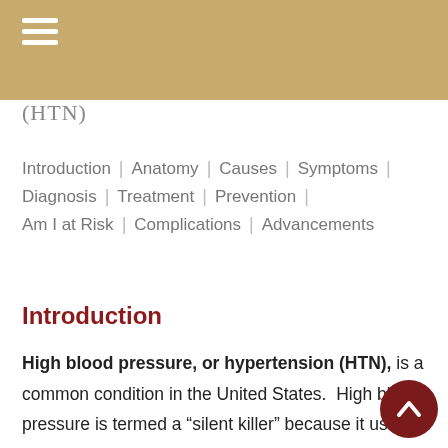(HTN)
Introduction | Anatomy | Causes | Symptoms | Diagnosis | Treatment | Prevention | Am I at Risk | Complications | Advancements
Introduction
High blood pressure, or hypertension (HTN), is a common condition in the United States. High blood pressure is termed a “silent killer” because it usually does not have symptoms but can cause significant cardiovascular and organ damage. The only way to know if you have high blood pressure is to get tested. High blood pressure can be controlled with lifestyle changes and medications. Uncontrolled